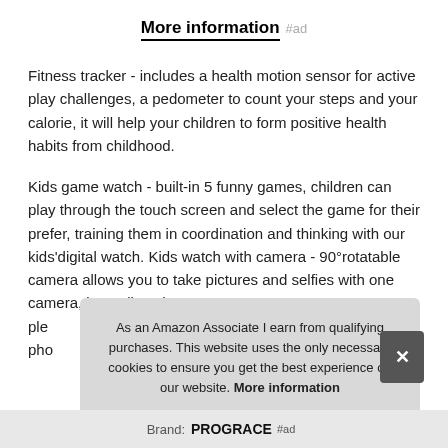More information #ad
Fitness tracker - includes a health motion sensor for active play challenges, a pedometer to count your steps and your calorie, it will help your children to form positive health habits from childhood.
Kids game watch - built-in 5 funny games, children can play through the touch screen and select the game for their prefer, training them in coordination and thinking with our kids'digital watch. Kids watch with camera - 90°rotatable camera allows you to take pictures and selfies with one camera, just adjust the ple pho
As an Amazon Associate I earn from qualifying purchases. This website uses the only necessary cookies to ensure you get the best experience on our website. More information
Brand: PROGRACE #ad